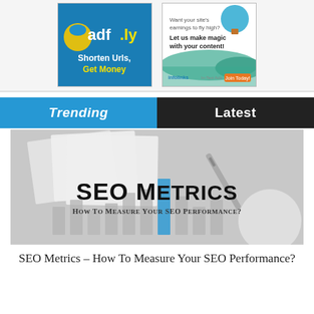[Figure (illustration): adf.ly advertisement banner - Shorten Urls, Get Money with bee logo]
[Figure (illustration): Infolinks advertisement - Want your site's earnings to fly high? Let us make magic with your content!]
Trending
Latest
[Figure (illustration): SEO Metrics article header image showing charts and text: SEO Metrics - How To Measure Your SEO Performance?]
SEO Metrics – How To Measure Your SEO Performance?